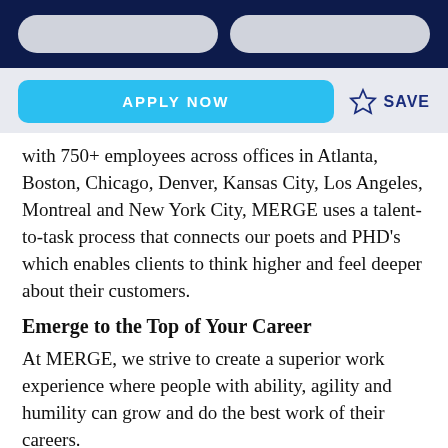[Navigation bar with two pill-shaped input fields on dark navy background]
APPLY NOW
SAVE
with 750+ employees across offices in Atlanta, Boston, Chicago, Denver, Kansas City, Los Angeles, Montreal and New York City, MERGE uses a talent-to-task process that connects our poets and PHD's which enables clients to think higher and feel deeper about their customers.
Emerge to the Top of Your Career
At MERGE, we strive to create a superior work experience where people with ability, agility and humility can grow and do the best work of their careers.
As our Senior Digital Project Manager , you